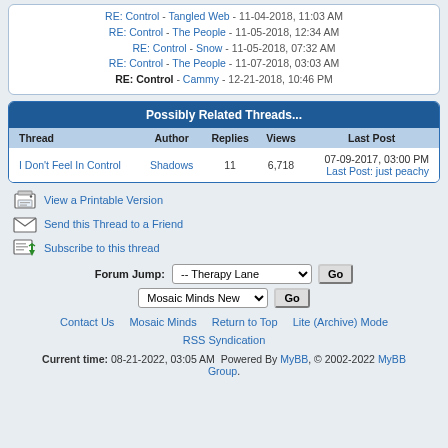RE: Control - Tangled Web - 11-04-2018, 11:03 AM
RE: Control - The People - 11-05-2018, 12:34 AM
RE: Control - Snow - 11-05-2018, 07:32 AM
RE: Control - The People - 11-07-2018, 03:03 AM
RE: Control - Cammy - 12-21-2018, 10:46 PM
| Thread | Author | Replies | Views | Last Post |
| --- | --- | --- | --- | --- |
| I Don't Feel In Control | Shadows | 11 | 6,718 | 07-09-2017, 03:00 PM Last Post: just peachy |
View a Printable Version
Send this Thread to a Friend
Subscribe to this thread
Forum Jump: -- Therapy Lane  Go  Mosaic Minds New  Go
Contact Us  Mosaic Minds  Return to Top  Lite (Archive) Mode  RSS Syndication
Current time: 08-21-2022, 03:05 AM Powered By MyBB, © 2002-2022 MyBB Group.